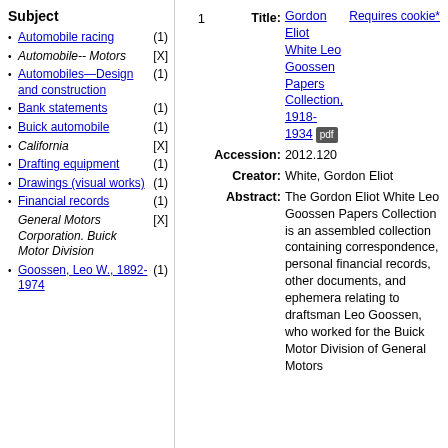Subject
Automobile racing (1)
Automobile-- Motors [X]
Automobiles—Design and construction (1)
Bank statements (1)
Buick automobile (1)
California [X]
Drafting equipment (1)
Drawings (visual works) (1)
Financial records (1)
General Motors Corporation. Buick Motor Division [X]
Goossen, Leo W., 1892-1974 (1)
1
| Field | Value |
| --- | --- |
| Title: | Gordon Eliot White Leo Goossen Papers Collection, 1918-1934 [pdf] Requires cookie* |
| Accession: | 2012.120 |
| Creator: | White, Gordon Eliot |
| Abstract: | The Gordon Eliot White Leo Goossen Papers Collection is an assembled collection containing correspondence, personal financial records, other documents, and ephemera relating to draftsman Leo Goossen, who worked for the Buick Motor Division of General Motors |